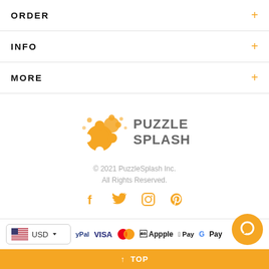ORDER
INFO
MORE
[Figure (logo): PuzzleSplash logo with orange puzzle piece and grey bold text]
© 2021 PuzzleSplash Inc.
All Rights Reserved.
[Figure (infographic): Social media icons: Facebook, Twitter, Instagram, Pinterest in orange]
USD currency selector with US flag and dropdown, payment icons: PayPal, Visa, Mastercard, Apple Pay, Google Pay
↑ TOP